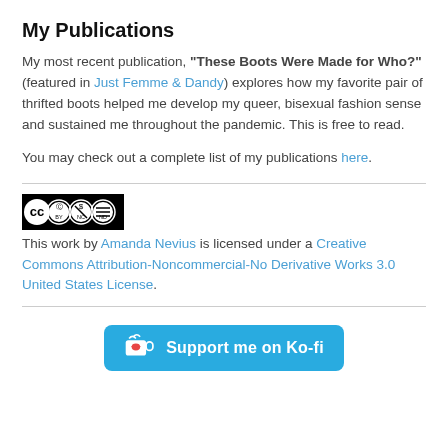My Publications
My most recent publication, “These Boots Were Made for Who?” (featured in Just Femme & Dandy) explores how my favorite pair of thrifted boots helped me develop my queer, bisexual fashion sense and sustained me throughout the pandemic. This is free to read.
You may check out a complete list of my publications here.
[Figure (logo): Creative Commons license badge showing CC BY NC ND icons]
This work by Amanda Nevius is licensed under a Creative Commons Attribution-Noncommercial-No Derivative Works 3.0 United States License.
[Figure (other): Ko-fi support button: blue rounded rectangle with cup icon and text 'Support me on Ko-fi']